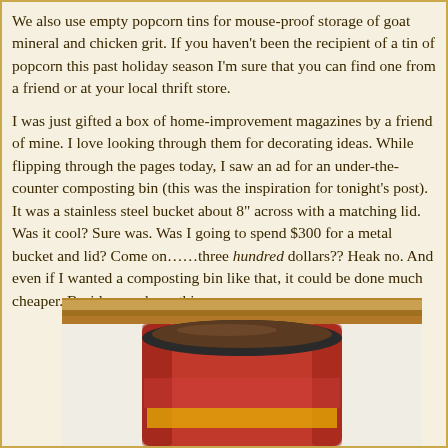We also use empty popcorn tins for mouse-proof storage of goat mineral and chicken grit.  If you haven't been the recipient of a tin of popcorn this past holiday season I'm sure that you can find one from a friend or at your local thrift store.
I was just gifted a box of home-improvement magazines by a friend of mine.  I love looking through them for decorating ideas.  While flipping through the pages today, I saw an ad for an under-the-counter composting bin (this was the inspiration for tonight’s post).  It was a stainless steel bucket about 8” across with a matching lid.  Was it cool?  Sure was.  Was I going to spend $300 for a metal bucket and lid?  Come on……three hundred dollars??  Heak no.  And even if I wanted a composting bin like that, it could be done much cheaper.  Besides, we have this one:
[Figure (photo): A red cylindrical container (composting bin or coffee can) with a dark brown/black lid, sitting on a wooden shelf against a white background.]